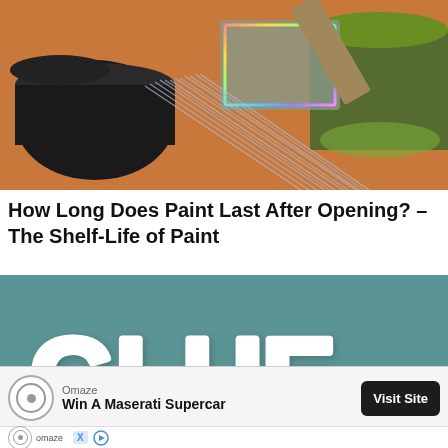[Figure (photo): Paint cans with a paintbrush resting on them, showing paint colors and bristles]
How Long Does Paint Last After Opening? – The Shelf-Life of Paint
[Figure (photo): Teal/green background with the word GLUE written in white 3D puffy letter style]
[Figure (other): Advertisement banner: Omaze logo, text 'Win A Maserati Supercar', Visit Site button]